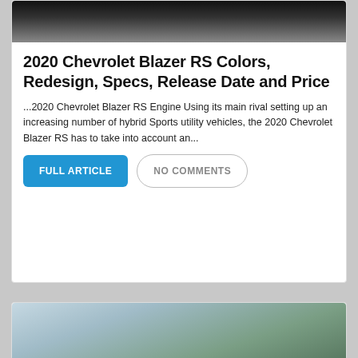[Figure (photo): Partial view of a dark-colored Chevrolet Blazer RS vehicle from the rear, on a light surface]
2020 Chevrolet Blazer RS Colors, Redesign, Specs, Release Date and Price
...2020 Chevrolet Blazer RS Engine Using its main rival setting up an increasing number of hybrid Sports utility vehicles, the 2020 Chevrolet Blazer RS has to take into account an...
FULL ARTICLE | NO COMMENTS
[Figure (photo): Partial view of a light-colored vehicle in an outdoor setting with trees and sky visible]